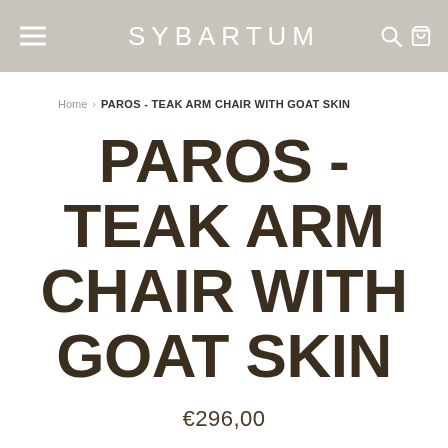SYBARTUM
Home › PAROS - TEAK ARM CHAIR WITH GOAT SKIN
PAROS - TEAK ARM CHAIR WITH GOAT SKIN
€296,00